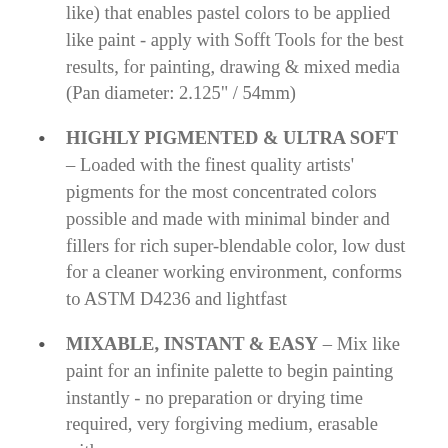(continued) that enables pastel colors to be applied like paint - apply with Sofft Tools for the best results, for painting, drawing & mixed media (Pan diameter: 2.125" / 54mm)
HIGHLY PIGMENTED & ULTRA SOFT – Loaded with the finest quality artists' pigments for the most concentrated colors possible and made with minimal binder and fillers for rich super-blendable color, low dust for a cleaner working environment, conforms to ASTM D4236 and lightfast
MIXABLE, INSTANT & EASY – Mix like paint for an infinite palette to begin painting instantly - no preparation or drying time required, very forgiving medium, erasable with any eraser
MIXED MEDIA ARTIST FRIENDLY – Versatile and able to use with most other artist's media (e.g. colored pencils, markers, inks, pastel sticks etc.) for a variety of techniques and on